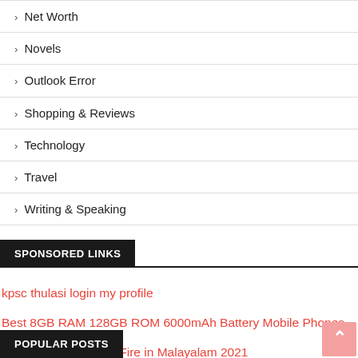› Net Worth
› Novels
› Outlook Error
› Shopping & Reviews
› Technology
› Travel
› Writing & Speaking
SPONSORED LINKS
kpsc thulasi login my profile
Best 8GB RAM 128GB ROM 6000mAh Battery Mobile Phones
Best Names for Free Fire in Malayalam 2021
POPULAR POSTS